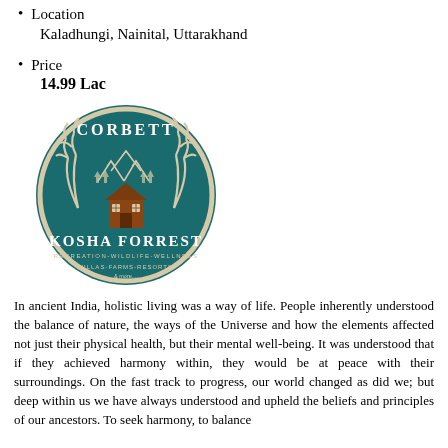Location
Kaladhungi, Nainital, Uttarakhand
Price
14.99 Lac
[Figure (logo): Corbett Kosha Forrest circular logo on teal/dark green background with antlers, mountains, and a house illustration. Text reads: CORBETT, KOSHA FORREST TM, RECREATION-WILDLIFE-WELLNESS, VILLAS-FARMS-RESORTS, & more....]
In ancient India, holistic living was a way of life. People inherently understood the balance of nature, the ways of the Universe and how the elements affected not just their physical health, but their mental well-being. It was understood that if they achieved harmony within, they would be at peace with their surroundings. On the fast track to progress, our world changed as did we; but deep within us we have always understood and upheld the beliefs and principles of our ancestors. To seek harmony, to balance